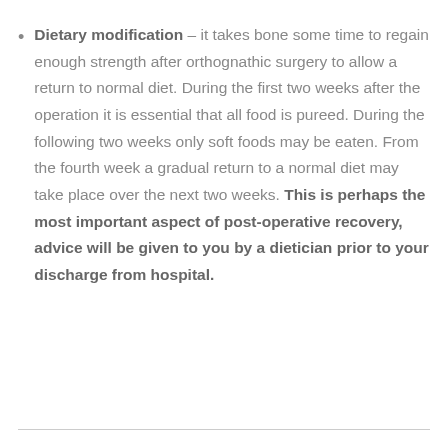Dietary modification – it takes bone some time to regain enough strength after orthognathic surgery to allow a return to normal diet. During the first two weeks after the operation it is essential that all food is pureed. During the following two weeks only soft foods may be eaten. From the fourth week a gradual return to a normal diet may take place over the next two weeks. This is perhaps the most important aspect of post-operative recovery, advice will be given to you by a dietician prior to your discharge from hospital.